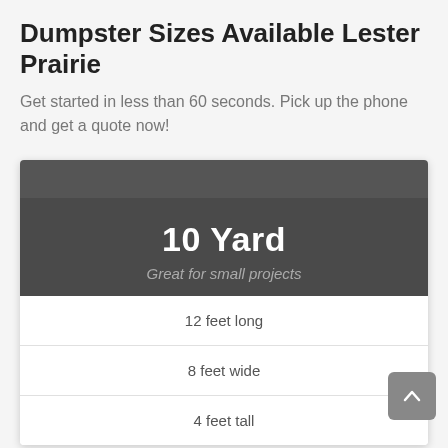Dumpster Sizes Available Lester Prairie
Get started in less than 60 seconds. Pick up the phone and get a quote now!
[Figure (infographic): Card showing 10 Yard dumpster with subtitle 'Great for small projects' and specifications: 12 feet long, 8 feet wide, 4 feet tall]